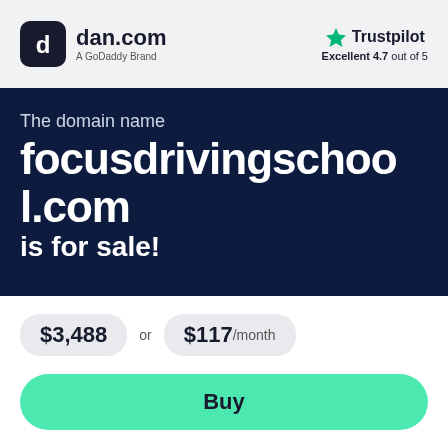[Figure (logo): dan.com logo - dark rounded square icon with 'd' symbol, text 'dan.com' and 'A GoDaddy Brand' subtitle]
[Figure (logo): Trustpilot logo with green star, label 'Trustpilot', rating 'Excellent 4.7 out of 5']
The domain name
focusdrivingschool.com
is for sale!
$3,488 or $117 /month
Buy